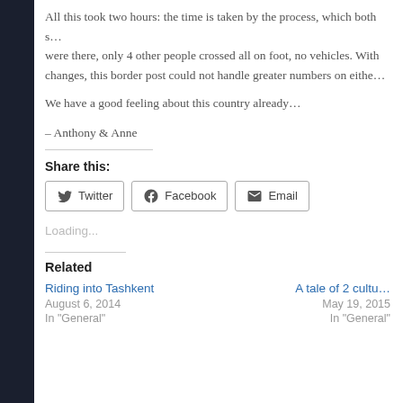All this took two hours: the time is taken by the process, which both s… were there, only 4 other people crossed all on foot, no vehicles. With… changes, this border post could not handle greater numbers on eithe…
We have a good feeling about this country already…
– Anthony & Anne
Share this:
Loading...
Related
Riding into Tashkent
August 6, 2014
In "General"
A tale of 2 cultu…
May 19, 2015
In "General"